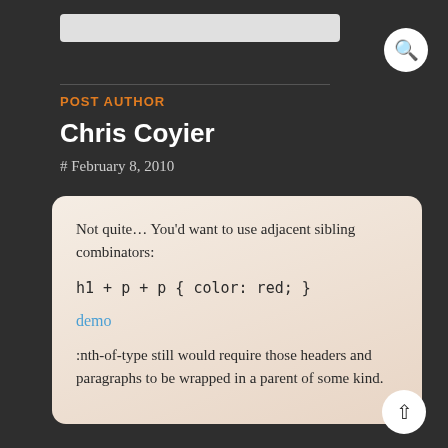POST AUTHOR
Chris Coyier
# February 8, 2010
Not quite... You'd want to use adjacent sibling combinators:
h1 + p + p { color: red; }
demo
:nth-of-type still would require those headers and paragraphs to be wrapped in a parent of some kind.